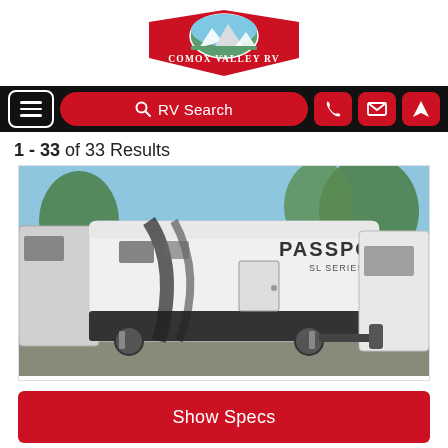[Figure (logo): Comox Valley RV logo - red shield/pennant shape with mountain landscape and text COMOX VALLEY RV]
[Figure (screenshot): Navigation bar with hamburger menu button, red RV Search button with magnifier icon, phone icon button, envelope icon button, and location/navigation icon button, all on black background]
1 - 33 of 33 Results
[Figure (photo): Photo of a white Keystone Passport SL Series travel trailer RV parked in a lot surrounded by trees. The RV has black accents and the word PASSPORT visible on the side.]
Show Specs
[Figure (photo): Partial bottom strip showing another RV image, partially cut off at the bottom of the page.]